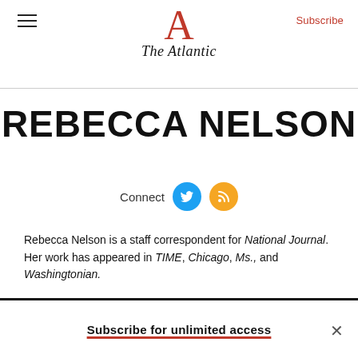The Atlantic
REBECCA NELSON
Connect
Rebecca Nelson is a staff correspondent for National Journal. Her work has appeared in TIME, Chicago, Ms., and Washingtonian.
Subscribe for unlimited access